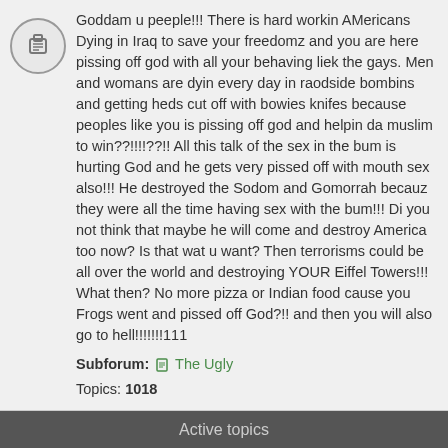Goddam u peeple!!! There is hard workin AMericans Dying in Iraq to save your freedomz and you are here pissing off god with all your behaving liek the gays. Men and womans are dyin every day in raodside bombins and getting heds cut off with bowies knifes because peoples like you is pissing off god and helpin da muslim to win??!!!!??!! All this talk of the sex in the bum is hurting God and he gets very pissed off with mouth sex also!!! He destroyed the Sodom and Gomorrah becauz they were all the time having sex with the bum!!! Di you not think that maybe he will come and destroy America too now? Is that wat u want? Then terrorisms could be all over the world and destroying YOUR Eiffel Towers!!! What then? No more pizza or Indian food cause you Frogs went and pissed off God?!! and then you will also go to hell!!!!!!!111
Subforum: The Ugly
Topics: 1018
Active topics
Worst Personal Column
by Rebel Pope » September 19, 2008, 11:58 am
Last post by Drac » September 25, 2008, 7:40 am
Replies: 5